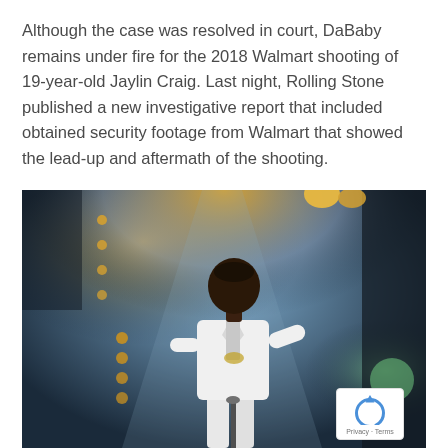Although the case was resolved in court, DaBaby remains under fire for the 2018 Walmart shooting of 19-year-old Jaylin Craig. Last night, Rolling Stone published a new investigative report that included obtained security footage from Walmart that showed the lead-up and aftermath of the shooting.
[Figure (photo): Person wearing a white suit standing on a stage with stage lighting in the background, shown from approximately waist up, looking to the side.]